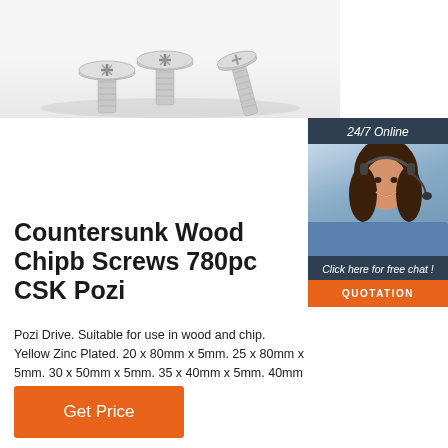[Figure (photo): Three silver countersunk screws with Phillips/Pozi heads shown from above on a white/light grey background]
[Figure (photo): 24/7 Online chat widget with a smiling woman wearing a headset, dark blue background, with 'Click here for free chat!' text and orange QUOTATION button]
Countersunk Wood Chipboard Screws 780pc CSK Pozi
Pozi Drive. Suitable for use in wood and chipboard. Yellow Zinc Plated. 20 x 80mm x 5mm. 25 x 80mm x 5mm. 30 x 50mm x 5mm. 35 x 40mm x 5mm. 40mm x 4mm.
[Figure (other): Orange 'Get Price' button]